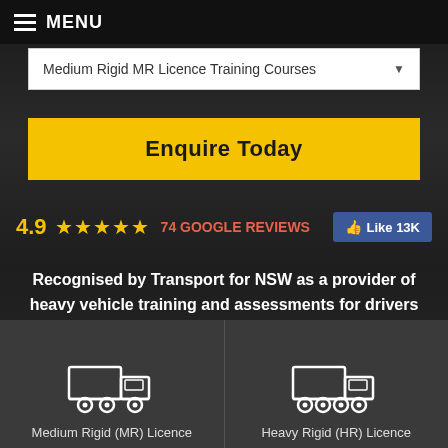MENU
Medium Rigid MR Licence Training Courses
Enquire Today
4.9  ★★★★★  74 GOOGLE REVIEWS  👍 Like 13K
Recognised by Transport for NSW as a provider of heavy vehicle training and assessments for drivers wishing to obtain heavy vehicle driver licences...
Medium Rigid (MR) Licence
Heavy Rigid (HR) Licence